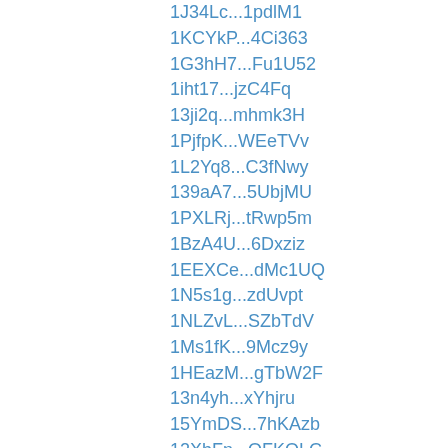1J34Lc...1pdlM1
1KCYkP...4Ci363
1G3hH7...Fu1U52
1iht17...jzC4Fq
13ji2q...mhmk3H
1PjfpK...WEeTVv
1L2Yq8...C3fNwy
139aA7...5UbjMU
1PXLRj...tRwp5m
1BzA4U...6Dxziz
1EEXCe...dMc1UQ
1N5s1g...zdUvpt
1NLZvL...SZbTdV
1Ms1fK...9Mcz9y
1HEazM...gTbW2F
13n4yh...xYhjru
15YmDS...7hKAzb
12XbFn...QFKQLC
1AboLY...UX4xiD
1NUvq8...6dCFSy
1LmV6n...L4HoU9
1AQNwp...BccYjH
1HrdUu...qVt2qm